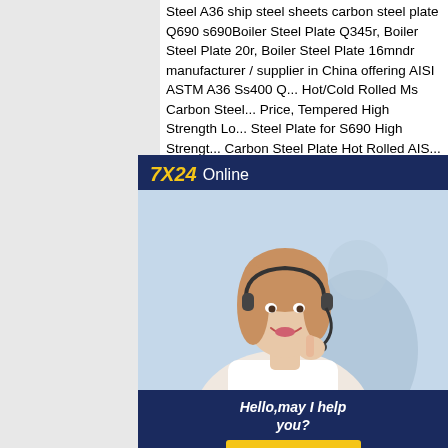Steel A36 ship steel sheets carbon steel plate Q690 s690Boiler Steel Plate Q345r, Boiler Steel Plate 20r, Boiler Steel Plate 16mndr manufacturer / supplier in China offering AISI ASTM A36 Ss400 Q... Hot/Cold Rolled Ms Carbon Steel... Price, Tempered High Strength Lo... Steel Plate for S690 High Strengt... Carbon Steel Plate Hot Rolled AIS... S460 S500 S550 S690 S890 S96... Structural Steel PlateAISI ASTM s... s500 s550 s690 s890 s960 struc... plate EN10025-6 is Standard spe... Hot rolled products of structural steels. Technical delivery conditions for flat products of high yield strength structural steels in the quenched and tempered condition.EN10025-6 Standard main steel grade S460Q, S460QL1, S460QL,
[Figure (photo): Chat widget showing '7X24 Online' header in dark navy blue, photo of a woman with a headset smiling, and 'Hello, may I help you?' text with a 'Get Latest Price' yellow button at the bottom.]